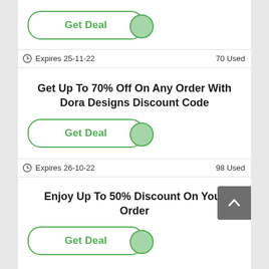[Figure (other): Get Deal button with green border and green circle notch on right]
Expires 25-11-22    70 Used
Get Up To 70% Off On Any Order With Dora Designs Discount Code
[Figure (other): Get Deal button with green border and green circle notch on right]
Expires 26-10-22    98 Used
Enjoy Up To 50% Discount On Your Order
[Figure (other): Get Deal button with green border and green circle notch on right]